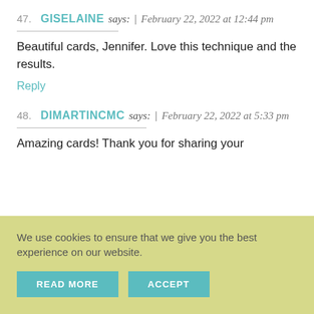47. GISELAINE says: | February 22, 2022 at 12:44 pm
Beautiful cards, Jennifer. Love this technique and the results.
Reply
48. DIMARTINCMC says: | February 22, 2022 at 5:33 pm
Amazing cards! Thank you for sharing your
We use cookies to ensure that we give you the best experience on our website.
READ MORE   ACCEPT